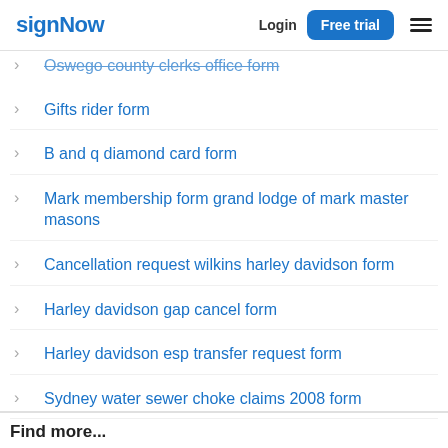signNow  Login  Free trial
Oswego county clerks office form
Gifts rider form
B and q diamond card form
Mark membership form grand lodge of mark master masons
Cancellation request wilkins harley davidson form
Harley davidson gap cancel form
Harley davidson esp transfer request form
Sydney water sewer choke claims 2008 form
Find more...